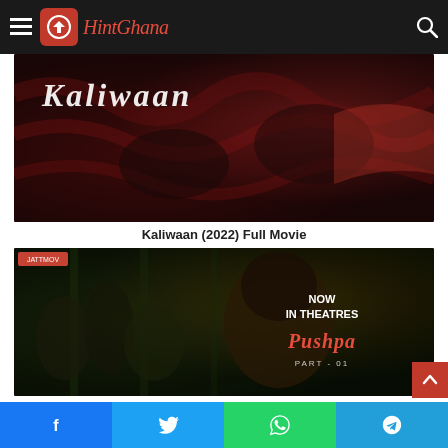HintGhana — navigation bar with logo
[Figure (photo): Kaliwaan (2022) movie poster showing women lounging on red fabric, dark tones, movie title 'Kaliwaan' visible]
Kaliwaan (2022) Full Movie
[Figure (photo): Pushpa movie poster showing cast including main actor with disheveled hair, dark gritty tones, 'NOW IN THEATRES' and 'PUSHPA PART 01' text visible]
Social share bar: Facebook, Twitter, WhatsApp, Telegram